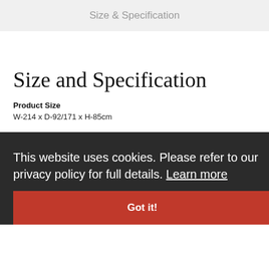Size & Specification
Size and Specification
Product Size
W-214 x D-92/171 x H-85cm
Product Details
Small Classic Sofa Left Hand Corner Hardwood Frames High Density Seat Foam Exceeds B5 European Standards for strength and stability. Whilst the product colour represented is as closely matched as possible, due to natural composition of the product we cannot guarantee an exact replication of colour*
This website uses cookies. Please refer to our privacy policy for full details. Learn more
Got it!